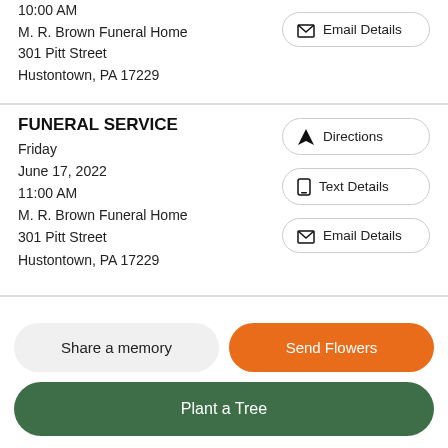10:00 AM
M. R. Brown Funeral Home
301 Pitt Street
Hustontown, PA 17229
Email Details
FUNERAL SERVICE
Friday
June 17, 2022
11:00 AM
M. R. Brown Funeral Home
301 Pitt Street
Hustontown, PA 17229
Directions
Text Details
Email Details
Share a memory
Send Flowers
Plant a Tree